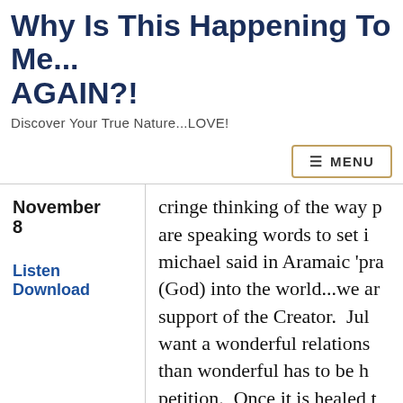Why Is This Happening To Me... AGAIN?!
Discover Your True Nature...LOVE!
≡ MENU
November
8
Listen
Download
cringe thinking of the way p are speaking words to set i michael said in Aramaic 'pra (God) into the world...we ar support of the Creator. Ju want a wonderful relations than wonderful has to be h petition. Once it is healed t for something we get to fa As long as those things ar